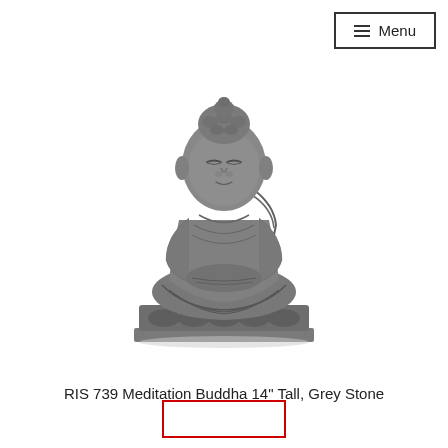≡ Menu
[Figure (photo): Grey stone meditation Buddha statue, 14 inches tall, seated in lotus position with hands in lap, on a decorative base]
RIS 739 Meditation Buddha 14" Tall, Grey Stone